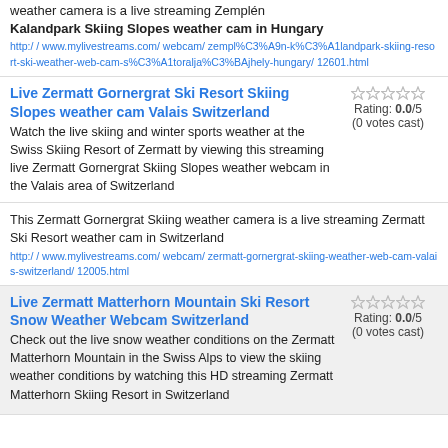weather camera is a live streaming Zemplén Kalandpark Skiing Slopes weather cam in Hungary
http://www.mylivestreams.com/webcam/zempl%C3%A9n-k%C3%A1landpark-skiing-resort-ski-weather-web-cam-s%C3%A1toralja%C3%BAjhely-hungary/12601.html
Live Zermatt Gornergrat Ski Resort Skiing Slopes weather cam Valais Switzerland
Watch the live skiing and winter sports weather at the Swiss Skiing Resort of Zermatt by viewing this streaming live Zermatt Gornergrat Skiing Slopes weather webcam in the Valais area of Switzerland
Rating: 0.0/5 (0 votes cast)
This Zermatt Gornergrat Skiing weather camera is a live streaming Zermatt Ski Resort weather cam in Switzerland
http://www.mylivestreams.com/webcam/zermatt-gornergrat-skiing-weather-web-cam-valais-switzerland/12005.html
Live Zermatt Matterhorn Mountain Ski Resort Snow Weather Webcam Switzerland
Check out the live snow weather conditions on the Zermatt Matterhorn Mountain in the Swiss Alps to view the skiing weather conditions by watching this HD streaming Zermatt Matterhorn Skiing Resort in Switzerland
Rating: 0.0/5 (0 votes cast)